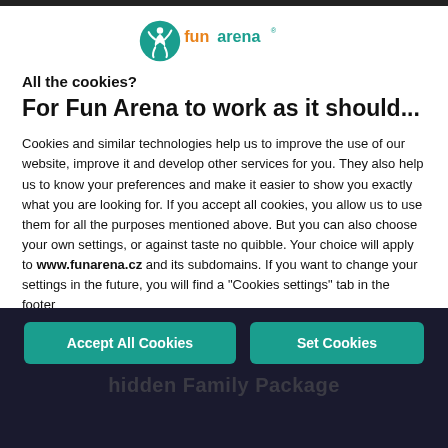[Figure (logo): Fun Arena logo with teal circle icon and orange/teal text 'funarena']
All the cookies?
For Fun Arena to work as it should...
Cookies and similar technologies help us to improve the use of our website, improve it and develop other services for you. They also help us to know your preferences and make it easier to show you exactly what you are looking for. If you accept all cookies, you allow us to use them for all the purposes mentioned above. But you can also choose your own settings, or against taste no quibble. Your choice will apply to www.funarena.cz and its subdomains. If you want to change your settings in the future, you will find a "Cookies settings" tab in the footer
Accept All Cookies
Set Cookies